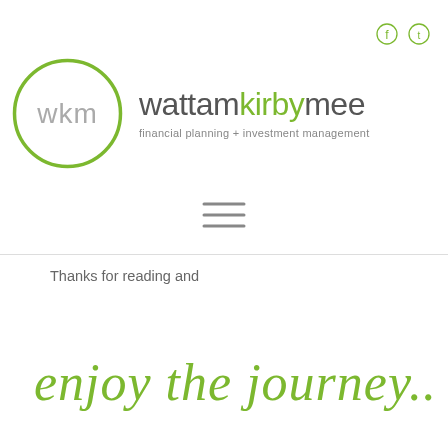[Figure (logo): WKM Wattam Kirby Mee logo with green circle containing 'wkm' and company name with tagline 'financial planning + investment management']
[Figure (other): Hamburger menu icon (three horizontal lines)]
Thanks for reading and
[Figure (other): Cursive script text in green reading 'enjoy the journey...']